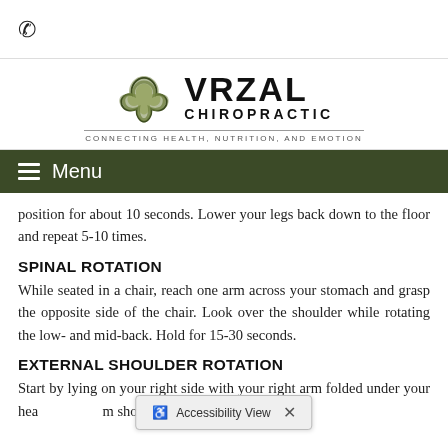📞 (phone icon)
[Figure (logo): Vrzal Chiropractic logo with triquetra symbol and tagline 'Connecting Health, Nutrition, and Emotion']
≡ Menu
position for about 10 seconds. Lower your legs back down to the floor and repeat 5-10 times.
SPINAL ROTATION
While seated in a chair, reach one arm across your stomach and grasp the opposite side of the chair. Look over the shoulder while rotating the low- and mid-back. Hold for 15-30 seconds.
EXTERNAL SHOULDER ROTATION
Start by lying on your right side with your right arm folded under your head... m should